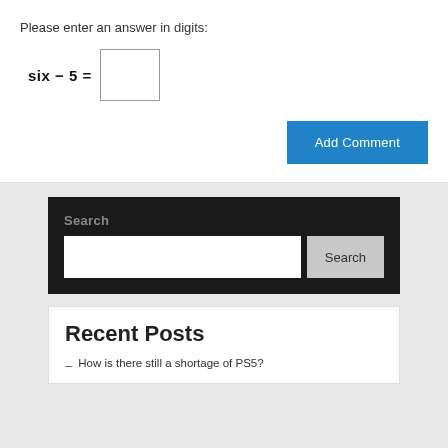Please enter an answer in digits:
Add Comment
Search
Search
Recent Posts
How is there still a shortage of PS5?